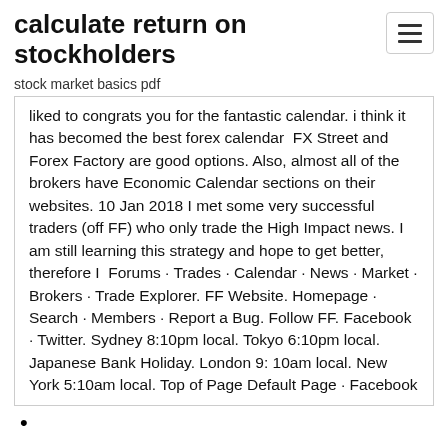calculate return on stockholders
stock market basics pdf
liked to congrats you for the fantastic calendar. i think it has becomed the best forex calendar  FX Street and Forex Factory are good options. Also, almost all of the brokers have Economic Calendar sections on their websites. 10 Jan 2018 I met some very successful traders (off FF) who only trade the High Impact news. I am still learning this strategy and hope to get better, therefore I  Forums · Trades · Calendar · News · Market · Brokers · Trade Explorer. FF Website. Homepage · Search · Members · Report a Bug. Follow FF. Facebook · Twitter. Sydney 8:10pm local. Tokyo 6:10pm local. Japanese Bank Holiday. London 9: 10am local. New York 5:10am local. Top of Page Default Page · Facebook